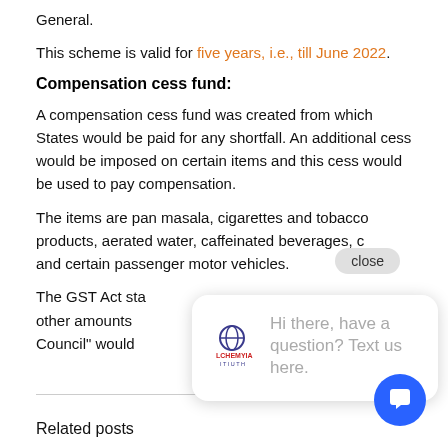General.
This scheme is valid for five years, i.e., till June 2022.
Compensation cess fund:
A compensation cess fund was created from which States would be paid for any shortfall. An additional cess would be imposed on certain items and this cess would be used to pay compensation.
The items are pan masala, cigarettes and tobacco products, aerated water, caffeinated beverages, c and certain passenger motor vehicles.
The GST Act sta other amounts Council" would
Related posts